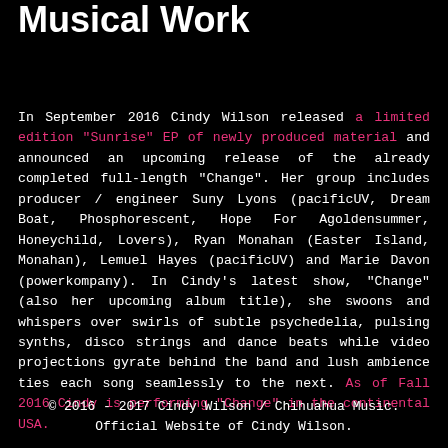Musical Work
In September 2016 Cindy Wilson released a limited edition "Sunrise" EP of newly produced material and announced an upcoming release of the already completed full-length "Change". Her group includes producer / engineer Suny Lyons (pacificUV, Dream Boat, Phosphorescent, Hope For Agoldensummer, Honeychild, Lovers), Ryan Monahan (Easter Island, Monahan), Lemuel Hayes (pacificUV) and Marie Davon (powerkompany). In Cindy's latest show, "Change" (also her upcoming album title), she swoons and whispers over swirls of subtle psychedelia, pulsing synths, disco strings and dance beats while video projections gyrate behind the band and lush ambience ties each song seamlessly to the next. As of Fall 2016 Cindy is performing "Change" in the continental USA.
© 2016 - 2017 Cindy Wilson / Chihuahua Music. Official Website of Cindy Wilson.